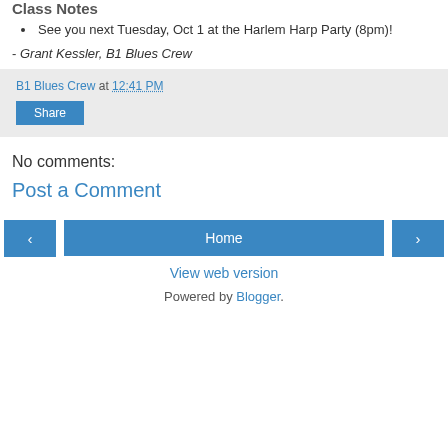Class Notes
See you next Tuesday, Oct 1 at the Harlem Harp Party (8pm)!
- Grant Kessler, B1 Blues Crew
B1 Blues Crew at 12:41 PM
Share
No comments:
Post a Comment
Home
View web version
Powered by Blogger.